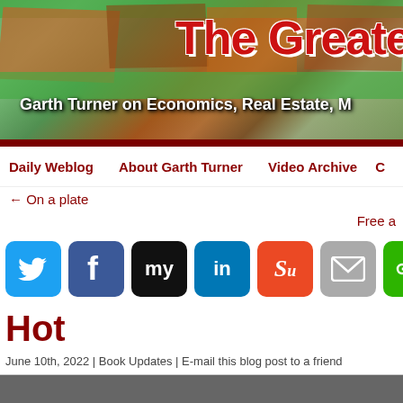[Figure (photo): Aerial photo banner of suburban houses with green lawns. Large red bold text 'The Greater' overlaid on top right. White italic subtitle text 'Garth Turner on Economics, Real Estate, M' at bottom left.]
Daily Weblog | About Garth Turner | Video Archive
← On a plate
Free a
[Figure (infographic): Row of social media sharing icons: Twitter (blue bird), Facebook (blue f), MySpace (black with 'my'), LinkedIn (blue 'in'), StumbleUpon (orange), Email (gray envelope), Share (green <)]
Hot
June 10th, 2022 | Book Updates | E-mail this blog post to a friend